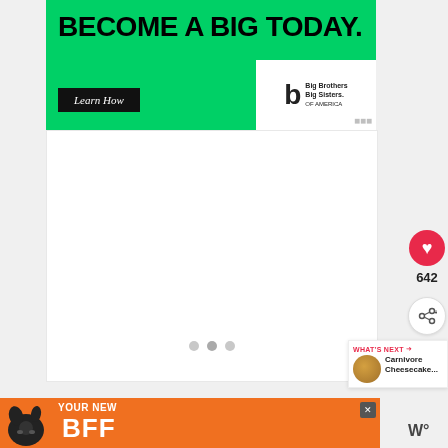[Figure (infographic): Big Brothers Big Sisters of America green advertisement banner with 'BECOME A BIG TODAY.' headline, 'Learn How' button, and BBBS logo]
[Figure (infographic): White content area with three pagination dots at the bottom]
[Figure (infographic): Red heart like button with count 642 and share button on right sidebar]
642
[Figure (infographic): WHAT'S NEXT panel showing Carnivore Cheesecake... with food thumbnail]
WHAT'S NEXT
Carnivore Cheesecake...
[Figure (infographic): Orange bottom advertisement banner with dog silhouette and YOUR NEW BFF text]